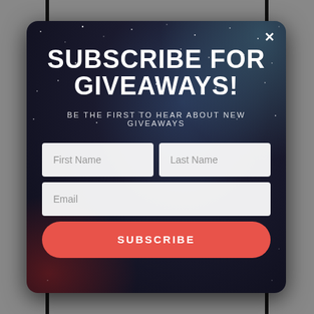[Figure (screenshot): A modal popup dialog over a gray background with vertical black bars. The modal has a dark space/night sky background with stars, a reddish glow at the bottom-left and a teal highlight at top-right. It contains a title 'SUBSCRIBE FOR GIVEAWAYS!', a subtitle 'BE THE FIRST TO HEAR ABOUT NEW GIVEAWAYS', form fields for First Name, Last Name, and Email, a red Subscribe button, and a white X close button in the top-right corner.]